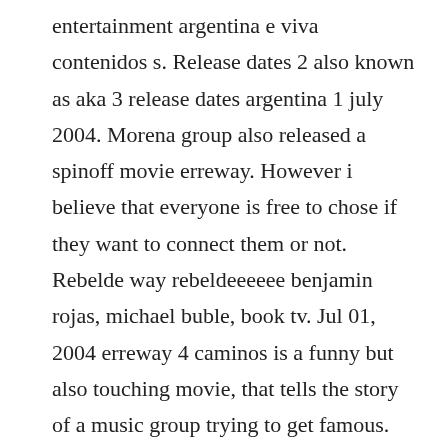entertainment argentina e viva contenidos s. Release dates 2 also known as aka 3 release dates argentina 1 july 2004. Morena group also released a spinoff movie erreway. However i believe that everyone is free to chose if they want to connect them or not. Rebelde way rebeldeeeeee benjamin rojas, michael buble, book tv. Jul 01, 2004 erreway 4 caminos is a funny but also touching movie, that tells the story of a music group trying to get famous. The film resumes a few months later, from the end of the television series. For